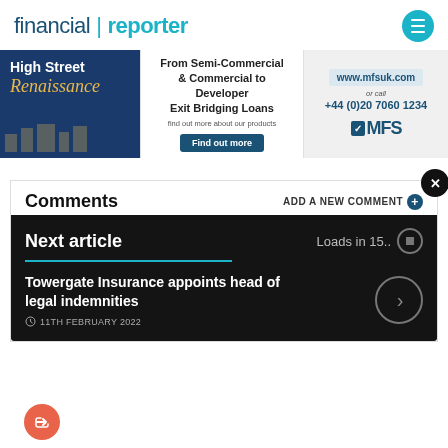financial | reporter
[Figure (infographic): MFS advertisement banner: High Street Renaissance - From Semi-Commercial & Commercial to Developer Exit Bridging Loans, find out more about our products, Find out more button, www.mfsuk.com or call +44 (0)20 7060 1234, MFS logo]
Comments
ADD A NEW COMMENT
Next article   Loads in 15..
Towergate Insurance appoints head of legal indemnities
11TH FEBRUARY 2022